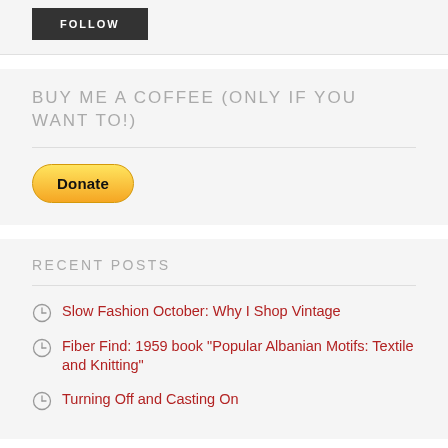[Figure (other): FOLLOW button — dark grey/black rectangular button with white uppercase bold text 'FOLLOW' and letter-spacing]
BUY ME A COFFEE (ONLY IF YOU WANT TO!)
[Figure (other): PayPal Donate button — yellow pill-shaped button with bold black text 'Donate']
RECENT POSTS
Slow Fashion October: Why I Shop Vintage
Fiber Find: 1959 book "Popular Albanian Motifs: Textile and Knitting"
Turning Off and Casting On